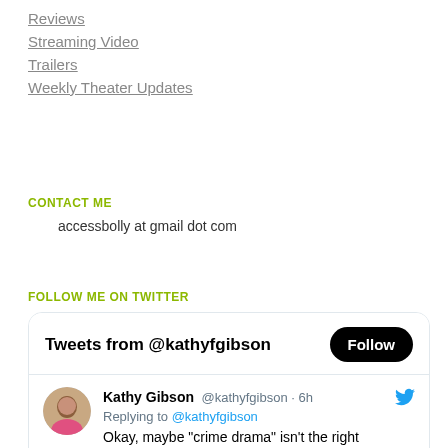Reviews
Streaming Video
Trailers
Weekly Theater Updates
CONTACT ME
accessbolly at gmail dot com
FOLLOW ME ON TWITTER
[Figure (screenshot): Twitter widget showing Tweets from @kathyfgibson with a Follow button, and a tweet by Kathy Gibson @kathyfgibson 6h: Replying to @kathyfgibson — Okay, maybe "crime drama" isn't the right description. 5 minutes in, and the film has already veered from a gruesome murder to wacky comedy. Oh boy. Also, Akshay's]